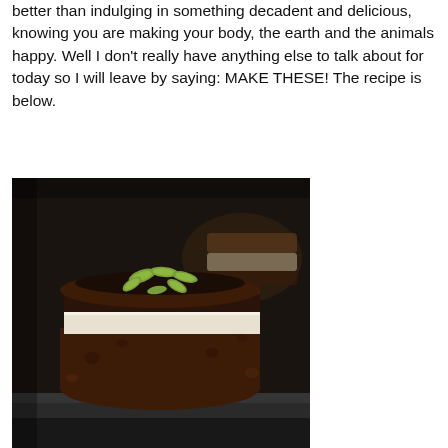better than indulging in something decadent and delicious, knowing you are making your body, the earth and the animals happy. Well I don't really have anything else to talk about for today so I will leave by saying: MAKE THESE! The recipe is below.
[Figure (photo): Close-up photo of a layered raw vegan cheesecake bite with a chocolate-date crust, white cashew cream filling, chocolate layer on top, and green pumpkin seeds as garnish. A second similar dessert is visible blurred in the background.]